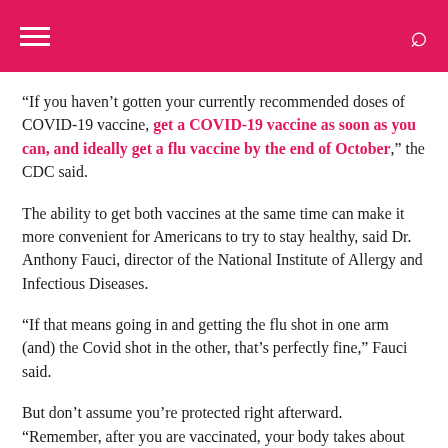[hamburger menu] [search icon]
“If you haven’t gotten your currently recommended doses of COVID-19 vaccine, get a COVID-19 vaccine as soon as you can, and ideally get a flu vaccine by the end of October,” the CDC said.
The ability to get both vaccines at the same time can make it more convenient for Americans to try to stay healthy, said Dr. Anthony Fauci, director of the National Institute of Allergy and Infectious Diseases.
“If that means going in and getting the flu shot in one arm (and) the Covid shot in the other, that’s perfectly fine,” Fauci said.
But don’t assume you’re protected right afterward. “Remember, after you are vaccinated, your body takes about